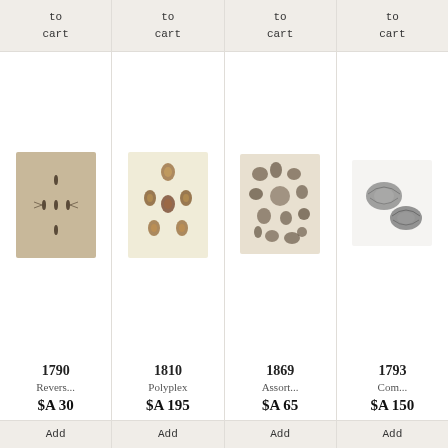to cart
[Figure (illustration): Vintage natural history illustration showing small insect specimens on a beige background, circa 1790]
1790
Revers...
$A 30
Add
to cart
[Figure (illustration): Vintage natural history illustration showing multiple shell specimens arranged on a cream background, circa 1810]
1810
Polyplex
$A 195
Add
to cart
[Figure (illustration): Vintage natural history illustration showing assorted shell and marine specimens on a beige background, circa 1869]
1869
Assort...
$A 65
Add
to cart
[Figure (illustration): Vintage natural history illustration showing two shell specimens in black and white, circa 1793]
1793
Com...
$A 150
Add